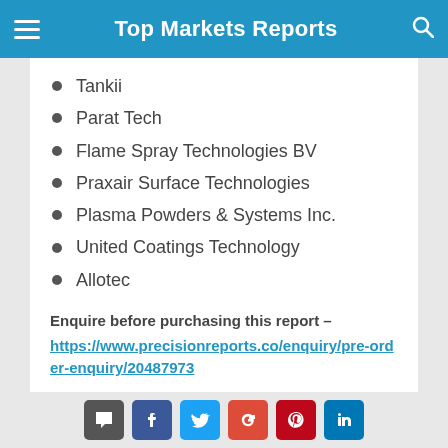Top Markets Reports
Tankii
Parat Tech
Flame Spray Technologies BV
Praxair Surface Technologies
Plasma Powders & Systems Inc.
United Coatings Technology
Allotec
Enquire before purchasing this report – https://www.precisionreports.co/enquiry/pre-order-enquiry/20487973
Thermal Spray Wires Market is segmented on the
Social share buttons: comment, facebook, twitter, google+, pinterest, linkedin